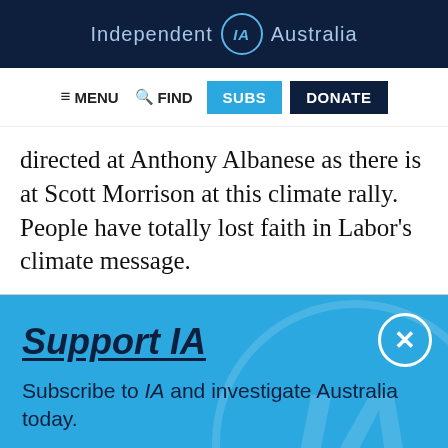Independent IA Australia
≡ MENU  🔍 FIND  SUBS  DONATE
directed at Anthony Albanese as there is at Scott Morrison at this climate rally. People have totally lost faith in Labor's climate message.
Support IA
Subscribe to IA and investigate Australia today.
Close  Subscribe  Donate
Twitter  Facebook  LinkedIn  Flipboard  Link  More